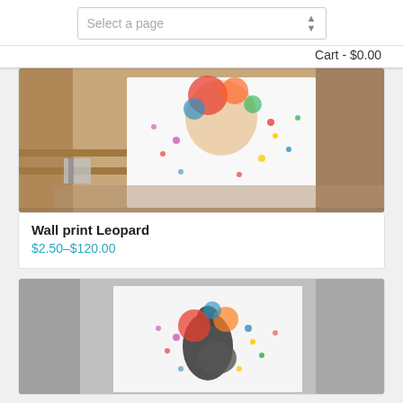Select a page | Cart - $0.00
[Figure (photo): Wall print Leopard product image showing a colorful leopard artwork displayed on a wall in a room setting with wooden shelving]
Wall print Leopard
$2.50–$120.00
[Figure (photo): Wall print showing a colorful guitar player artwork with splashes of paint, displayed on white wall]